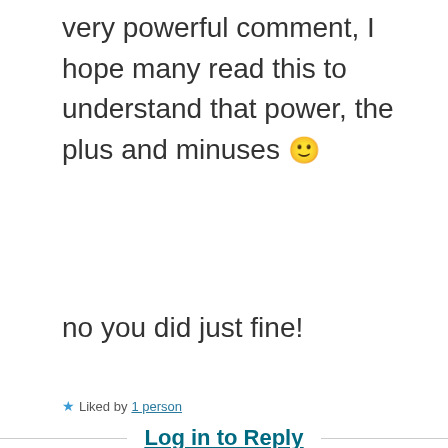very powerful comment, I hope many read this to understand that power, the plus and minuses 🙂
no you did just fine!
★ Liked by 1 person
Log in to Reply
[Figure (photo): Circular avatar photo showing a sunflower]
calmkate